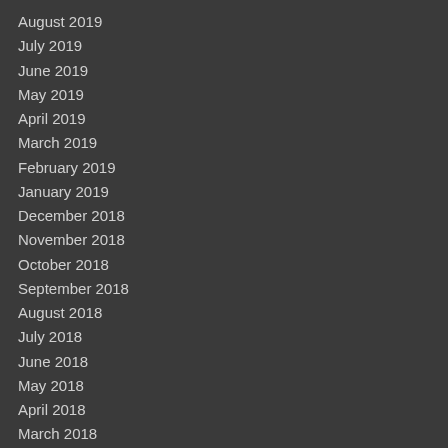August 2019
July 2019
June 2019
May 2019
April 2019
March 2019
February 2019
January 2019
December 2018
November 2018
October 2018
September 2018
August 2018
July 2018
June 2018
May 2018
April 2018
March 2018
February 2018
January 2018